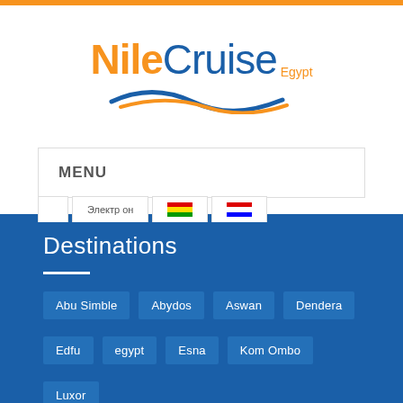[Figure (logo): Nile Cruise Egypt logo with orange 'Nile' text, blue 'Cruise' text, orange 'Egypt' subtext, and blue/orange wave graphic beneath]
MENU
Abu Simble
Abydos
Aswan
Dendera
Edfu
egypt
Esna
Kom Ombo
Luxor